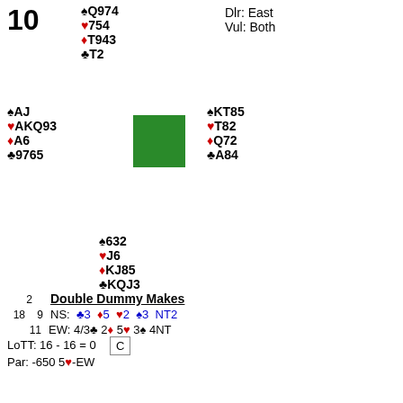10  ♠Q974  ♥754  ♦T943  ♣T2  Dlr: East  Vul: Both
West: ♠AJ ♥AKQ93 ♦A6 ♣9765
East: ♠KT85 ♥T82 ♦Q72 ♣A84
South: ♠632 ♥J6 ♦KJ85 ♣KQJ3
Double Dummy Makes
NS: ♣3 ♦5 ♥2 ♠3 NT2
EW: 4/3♣ 2♦ 5♥ 3♠ 4NT
LoTT: 16 - 16 = 0  Par: -650 5♥-EW
| N-S | E-W | N-S | E-W | Contract | Ld | Board 10 |
| --- | --- | --- | --- | --- | --- | --- |
|  | 170 | 2.00 | 0.00 | 3♥ W 4 | ♠T | 1-Douglas-Yung vs 7-Pitt-Nelson |